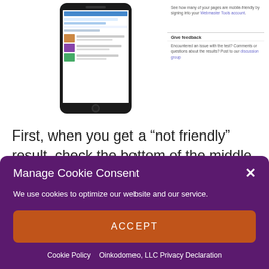[Figure (screenshot): A smartphone showing a webpage screenshot, displayed in the upper-center of the page.]
See how many of your pages are mobile-friendly by signing into your Webmaster Tools account.
Give feedback
Encountered an issue with the test? Comments or questions about the results? Post to our discussion group
First, when you get a “not friendly” result, check the bottom of the middle column to see if there were load errors. A link allows you to show the resources that were not loaded (Note: we are showing results for the
Manage Cookie Consent
We use cookies to optimize our website and our service.
ACCEPT
Cookie Policy   Oinkodomeo, LLC Privacy Declaration